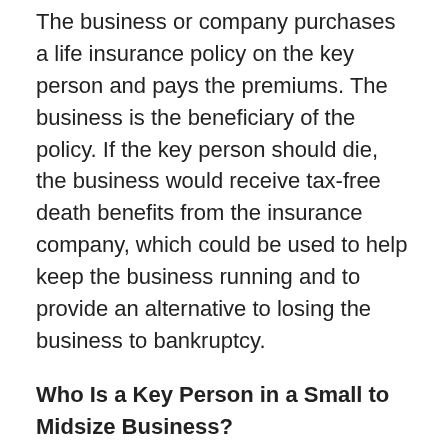The business or company purchases a life insurance policy on the key person and pays the premiums. The business is the beneficiary of the policy. If the key person should die, the business would receive tax-free death benefits from the insurance company, which could be used to help keep the business running and to provide an alternative to losing the business to bankruptcy.
Who Is a Key Person in a Small to Midsize Business?
Many small to midsize businesses deliver a service to their customers or clients and may depend on a few key individuals to deliver the service that generates the revenues. They might be owners, partners, or key employees who have become indispensable to the continuing success of the business.